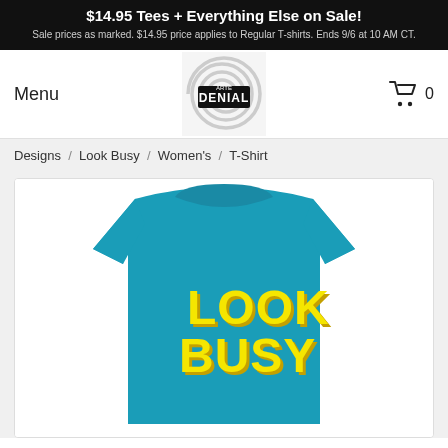$14.95 Tees + Everything Else on Sale! Sale prices as marked. $14.95 price applies to Regular T-shirts. Ends 9/6 at 10 AM CT.
Menu
[Figure (logo): Arte Denial swirl logo — black and white spiral with 'DENIAL' text in center]
[Figure (illustration): Shopping cart icon with the number 0]
Designs / Look Busy / Women's / T-Shirt
[Figure (photo): Teal women's t-shirt with bold yellow 'LOOK BUSY' text printed on the front]